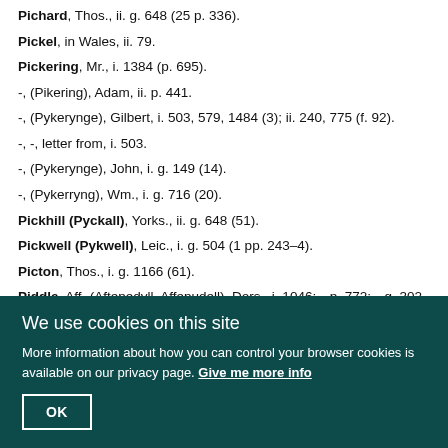Pichard, Thos., ii. g. 648 (25 p. 336).
Pickel, in Wales, ii. 79.
Pickering, Mr., i. 1384 (p. 695).
-, (Pikering), Adam, ii. p. 441.
-, (Pykerynge), Gilbert, i. 503, 579, 1484 (3); ii. 240, 775 (f. 92).
-, -, letter from, i. 503.
-, (Pykerynge), John, i. g. 149 (14).
-, (Pykerryng), Wm., i. g. 716 (20).
Pickhill (Pyckall), Yorks., ii. g. 648 (51).
Pickwell (Pykwell), Leic., i. g. 504 (1 pp. 243–4).
Picton, Thos., i. g. 1166 (61).
Piddle, Aff- (Aftepedyll, Affepudell), Dors., i. 1046:—p. 772:—g. 302 (64).
Piddle Hinton, Dors., i. g. 1537 (16).
We use cookies on this site
More information about how you can control your browser cookies is available on our privacy page. Give me more info
OK